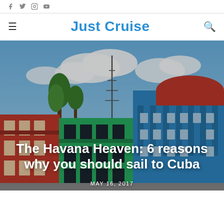f  twitter  instagram  youtube
Just Cruise
[Figure (photo): Street scene in Havana, Cuba showing colorful colonial buildings — red, green, and teal — with a radio tower and palm trees against a partly cloudy blue sky.]
The Havana Heaven: 6 reasons why you should sail to Cuba
MAY 16, 2017